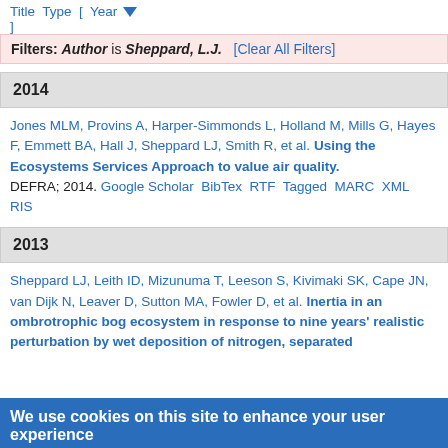Title Type [ Year ▼ ]
Filters: Author is Sheppard, L.J.  [Clear All Filters]
2014
Jones MLM, Provins A, Harper-Simmonds L, Holland M, Mills G, Hayes F, Emmett BA, Hall J, Sheppard LJ, Smith R, et al. Using the Ecosystems Services Approach to value air quality. DEFRA; 2014. Google Scholar BibTex RTF Tagged MARC XML RIS
2013
Sheppard LJ, Leith ID, Mizunuma T, Leeson S, Kivimaki SK, Cape JN, van Dijk N, Leaver D, Sutton MA, Fowler D, et al. Inertia in an ombrotrophic bog ecosystem in response to nine years' realistic perturbation by wet deposition of nitrogen, separated
We use cookies on this site to enhance your user experience